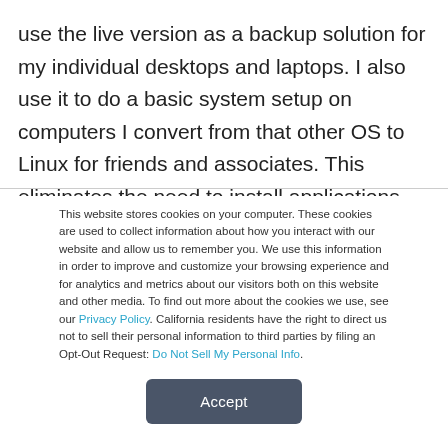use the live version as a backup solution for my individual desktops and laptops. I also use it to do a basic system setup on computers I convert from that other OS to Linux for friends and associates. This eliminates the need to install applications from the resident Software Manager after I do a virgin OS installation of Linux.
This website stores cookies on your computer. These cookies are used to collect information about how you interact with our website and allow us to remember you. We use this information in order to improve and customize your browsing experience and for analytics and metrics about our visitors both on this website and other media. To find out more about the cookies we use, see our Privacy Policy. California residents have the right to direct us not to sell their personal information to third parties by filing an Opt-Out Request: Do Not Sell My Personal Info.
Accept